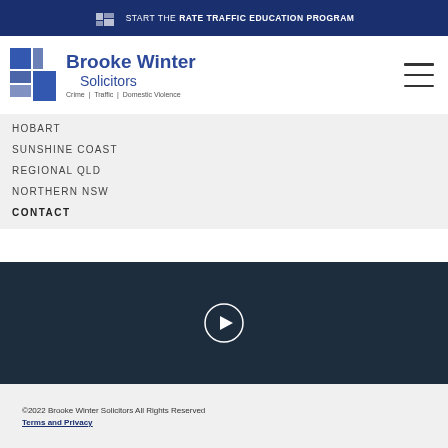START THE RATE TRAFFIC EDUCATION PROGRAM
[Figure (logo): Brooke Winter Solicitors logo with blue block grid icon, firm name and tagline: Crime | Traffic | Domestic Violence]
HOBART
SUNSHINE COAST
REGIONAL QLD
NORTHERN NSW
CONTACT
[Figure (screenshot): Dark navy background section with a circular play button (arrow pointing right) in the center]
©2022 Brooke Winter Solicitors All Rights Reserved
Terms and Privacy